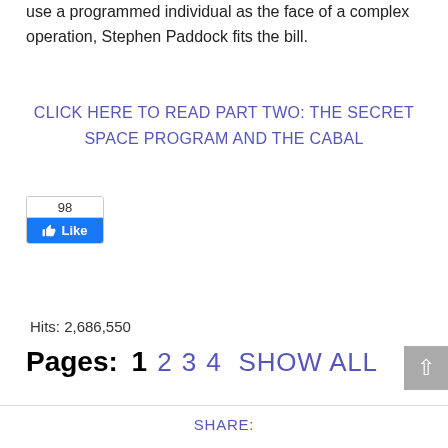use a programmed individual as the face of a complex operation, Stephen Paddock fits the bill.
CLICK HERE TO READ PART TWO: THE SECRET SPACE PROGRAM AND THE CABAL
[Figure (other): Facebook Like button widget showing 98 likes]
Hits: 2,686,550
Pages: 1 2 3 4 SHOW ALL